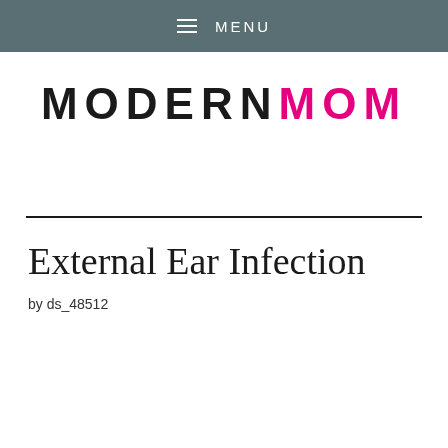MENU
[Figure (logo): MODERNMOM logo with MODERN in black and MOM in pink/magenta, large bold letters with wide letter spacing]
External Ear Infection
by ds_48512